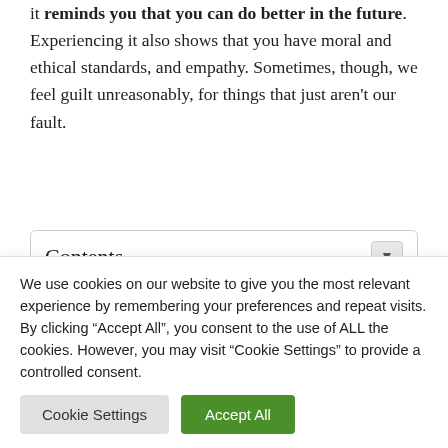it reminds you that you can do better in the future. Experiencing it also shows that you have moral and ethical standards, and empathy. Sometimes, though, we feel guilt unreasonably, for things that just aren't our fault.
Contents
We use cookies on our website to give you the most relevant experience by remembering your preferences and repeat visits. By clicking "Accept All", you consent to the use of ALL the cookies. However, you may visit "Cookie Settings" to provide a controlled consent.